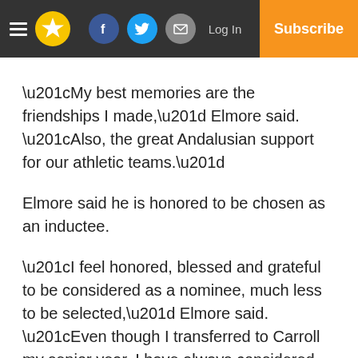Menu | Star | Facebook | Twitter | Email | Log In | Subscribe
“My best memories are the friendships I made,” Elmore said. “Also, the great Andalusian support for our athletic teams.”
Elmore said he is honored to be chosen as an inductee.
“I feel honored, blessed and grateful to be considered as a nominee, much less to be selected,” Elmore said. “Even though I transferred to Carroll my senior year, I have always considered Andalusia my